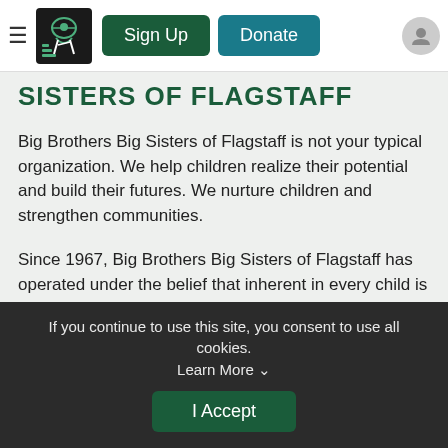Sign Up | Donate
SISTERS OF FLAGSTAFF
Big Brothers Big Sisters of Flagstaff is not your typical organization. We help children realize their potential and build their futures. We nurture children and strengthen communities.
Since 1967, Big Brothers Big Sisters of Flagstaff has operated under the belief that inherent in every child is the ability to succeed and thrive in life. Big Brothers Big Sisters of Flagstaff makes meaningful, monitored matches between adult volunteers (Bigs) and children (Littles), ages 6 through 18, in Flagstaff and Williams.
If you continue to use this site, you consent to use all cookies. Learn More ∨
I Accept